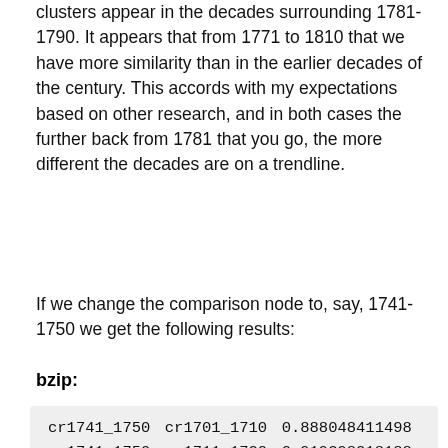clusters appear in the decades surrounding 1781-1790. It appears that from 1771 to 1810 that we have more similarity than in the earlier decades of the century. This accords with my expectations based on other research, and in both cases the further back from 1781 that you go, the more different the decades are on a trendline.
If we change the comparison node to, say, 1741-1750 we get the following results:
bzip:
| cr1741_1750 | cr1701_1710 | 0.888048411498 |
| cr1741_1750 | cr1711_1720 | 0.919398218188 |
| cr1741_1750 | cr1721_1730 | 0.826189275508 |
| cr1741_1750 | cr1731_1740 | 0.80795091612 |
| cr1741_1750 | cr1741_1750 | 0.277693730039 |